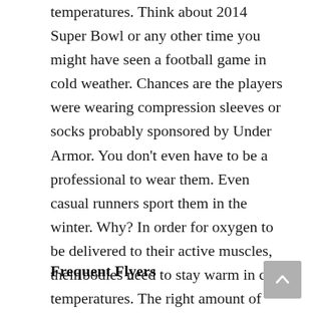temperatures. Think about 2014 Super Bowl or any other time you might have seen a football game in cold weather. Chances are the players were wearing compression sleeves or socks probably sponsored by Under Armor. You don't even have to be a professional to wear them. Even casual runners sport them in the winter. Why? In order for oxygen to be delivered to their active muscles, their bodies need to stay warm in cold temperatures. The right amount of compression will basically prevent cramping or fatigue.
Frequent Flyers